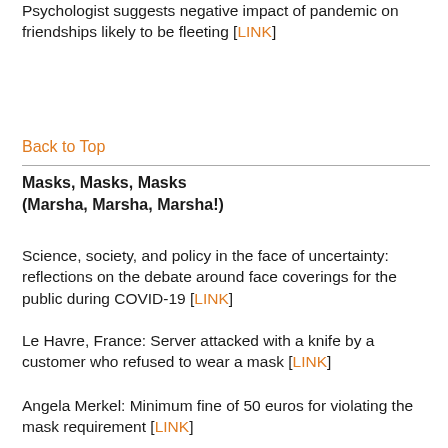Psychologist suggests negative impact of pandemic on friendships likely to be fleeting [LINK]
Back to Top
Masks, Masks, Masks (Marsha, Marsha, Marsha!)
Science, society, and policy in the face of uncertainty: reflections on the debate around face coverings for the public during COVID-19 [LINK]
Le Havre, France: Server attacked with a knife by a customer who refused to wear a mask [LINK]
Angela Merkel: Minimum fine of 50 euros for violating the mask requirement [LINK]